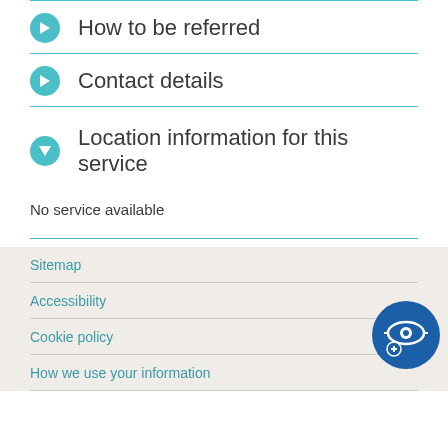How to be referred
Contact details
Location information for this service
No service available
Sitemap
Accessibility
Cookie policy
How we use your information